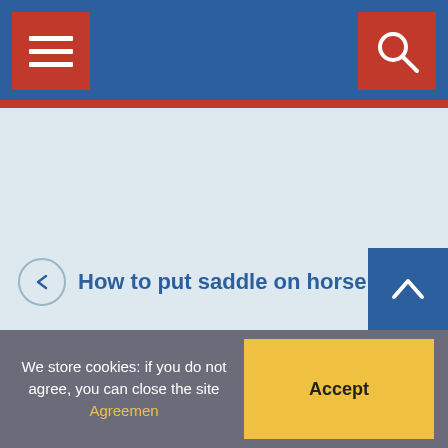[Figure (screenshot): Website header bar with hamburger menu button on left and search icon on right, both on red square backgrounds against a blue bar]
[Figure (other): Light blue-grey main content area (placeholder/image region)]
How to put saddle on horse botw
How to become a horse jockey
[Figure (other): Back to top button with upward chevron on blue background]
We store cookies: if you do not agree, you can close the site Agreemen
Accept